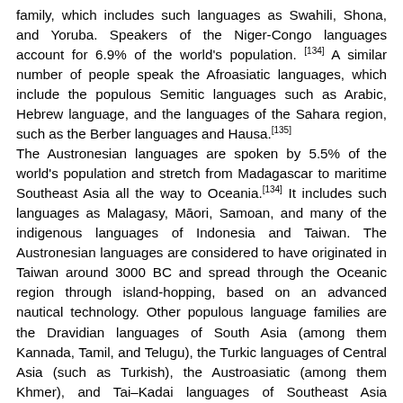family, which includes such languages as Swahili, Shona, and Yoruba. Speakers of the Niger-Congo languages account for 6.9% of the world's population.[134] A similar number of people speak the Afroasiatic languages, which include the populous Semitic languages such as Arabic, Hebrew language, and the languages of the Sahara region, such as the Berber languages and Hausa.[135] The Austronesian languages are spoken by 5.5% of the world's population and stretch from Madagascar to maritime Southeast Asia all the way to Oceania.[134] It includes such languages as Malagasy, Māori, Samoan, and many of the indigenous languages of Indonesia and Taiwan. The Austronesian languages are considered to have originated in Taiwan around 3000 BC and spread through the Oceanic region through island-hopping, based on an advanced nautical technology. Other populous language families are the Dravidian languages of South Asia (among them Kannada, Tamil, and Telugu), the Turkic languages of Central Asia (such as Turkish), the Austroasiatic (among them Khmer), and Tai–Kadai languages of Southeast Asia (including Thai).[135] The areas of the world in which there is the greatest